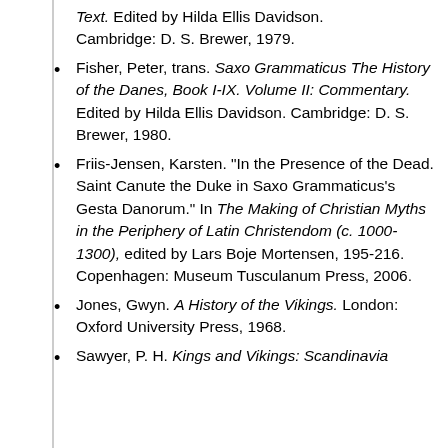Text. Edited by Hilda Ellis Davidson. Cambridge: D. S. Brewer, 1979.
Fisher, Peter, trans. Saxo Grammaticus The History of the Danes, Book I-IX. Volume II: Commentary. Edited by Hilda Ellis Davidson. Cambridge: D. S. Brewer, 1980.
Friis-Jensen, Karsten. "In the Presence of the Dead. Saint Canute the Duke in Saxo Grammaticus's Gesta Danorum." In The Making of Christian Myths in the Periphery of Latin Christendom (c. 1000-1300), edited by Lars Boje Mortensen, 195-216. Copenhagen: Museum Tusculanum Press, 2006.
Jones, Gwyn. A History of the Vikings. London: Oxford University Press, 1968.
Sawyer, P. H. Kings and Vikings: Scandinavia